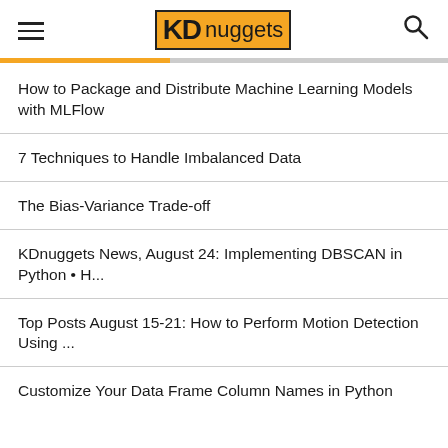KDnuggets
How to Package and Distribute Machine Learning Models with MLFlow
7 Techniques to Handle Imbalanced Data
The Bias-Variance Trade-off
KDnuggets News, August 24: Implementing DBSCAN in Python • H...
Top Posts August 15-21: How to Perform Motion Detection Using ...
Customize Your Data Frame Column Names in Python